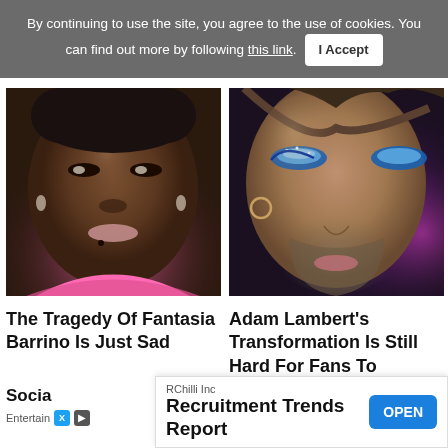By continuing to use the site, you agree to the use of cookies. You can find out more by following this link. I Accept
[Figure (photo): Close-up portrait of a Black woman with short hair, wearing pink ruffled top and crystal earrings, looking at camera]
The Tragedy Of Fantasia Barrino Is Just Sad
[Figure (photo): Close-up portrait of a man with beard wearing heavy blue and silver eye makeup and glitter, with purple bokeh background]
Adam Lambert's Transformation Is Still Hard For Fans To Swallow
RChilli Inc
Recruitment Trends Report  OPEN
Socia
Entertain